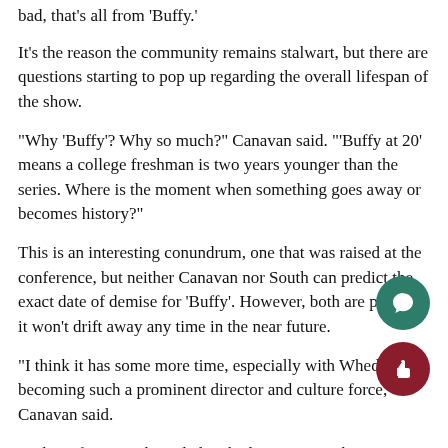bad, that's all from 'Buffy.'
It's the reason the community remains stalwart, but there are questions starting to pop up regarding the overall lifespan of the show.
“Why ‘Buffy’? Why so much?” Canavan said. “‘Buffy at 20’ means a college freshman is two years younger than the series. Where is the moment when something goes away or becomes history?”
This is an interesting conundrum, one that was raised at the conference, but neither Canavan nor South can predict the exact date of demise for ‘Buffy’. However, both are positive it won’t drift away any time in the near future.
“I think it has some more time, especially with Whedon becoming such a prominent director and culture force,” Canavan said.
Both professors acknowledge the large impact the series has had on their lives and careers.
“I still teach and research medieval philosophy: what I came to Marquette to do,” South said. “But, this expanded the possibilities…